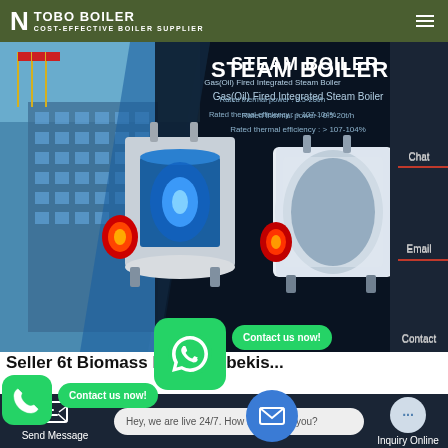TOBO BOILER — COST-EFFECTIVE BOILER SUPPLIER
STEAM BOILER
Gas(Oil) Fired Integrated Steam Boiler
Rated thermal power : 0.5-20t/h
Rated thermal efficiency : > ...
[Figure (photo): Industrial steam boilers — two units, one showing cutaway interior with blue flame, one white exterior view, set against dark background with building and flags on left]
Chat
Email
Contact
Seller 6t Biomass Boiler Uzbekis...
Contact us now!
Contact us now!
Hey, we are live 24/7. How may I help you?
Send Message    Inquiry Online